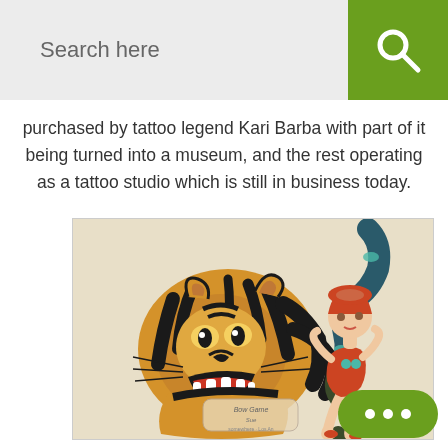Search here
purchased by tattoo legend Kari Barba with part of it being turned into a museum, and the rest operating as a tattoo studio which is still in business today.
[Figure (illustration): Traditional American tattoo flash art showing a tiger head on the left and a woman being wrapped by a snake on the right, on a cream/beige background. Stamp-like mark in the center bottom area.]